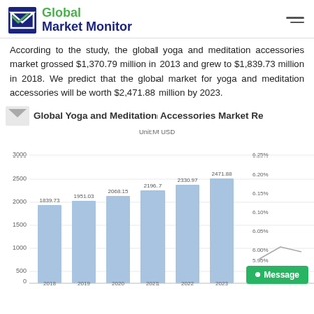Global Market Monitor
According to the study, the global yoga and meditation accessories market grossed $1,370.79 million in 2013 and grew to $1,839.73 million in 2018. We predict that the global market for yoga and meditation accessories will be worth $2,471.88 million by 2023.
Global Yoga and Meditation Accessories Market Re
[Figure (bar-chart): Global Yoga and Meditation Accessories Market Revenue]